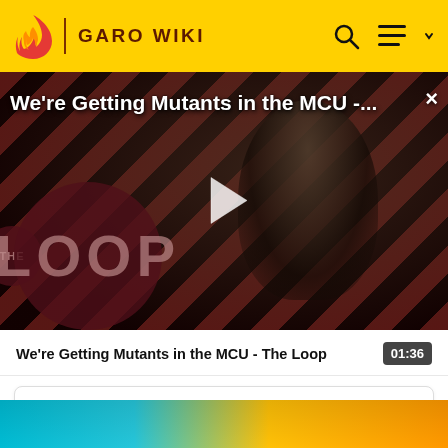GARO WIKI
[Figure (screenshot): Video thumbnail showing a bald man seated in a chair with red and black diagonal stripe background, 'THE LOOP' watermark overlay, and white play button. Title reads 'We're Getting Mutants in the MCU -...']
We're Getting Mutants in the MCU - The Loop  01:36
3  Makai Armor
[Figure (photo): Partial colorful image visible at bottom of page]